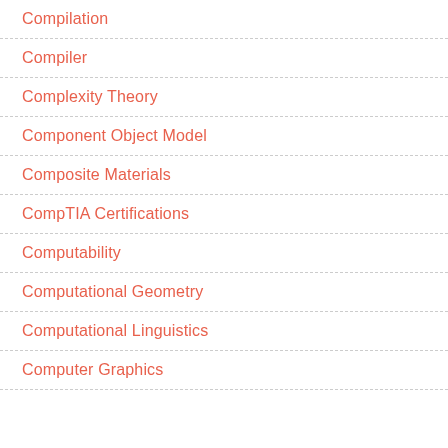Compilation
Compiler
Complexity Theory
Component Object Model
Composite Materials
CompTIA Certifications
Computability
Computational Geometry
Computational Linguistics
Computer Graphics